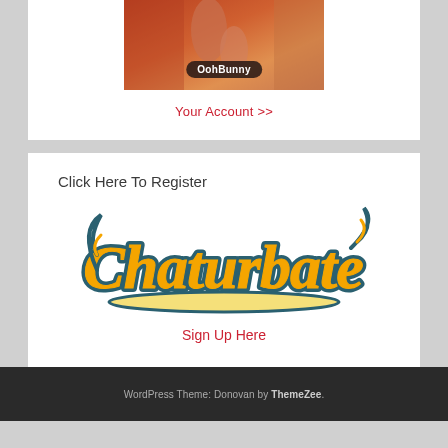[Figure (photo): Partial thumbnail image with 'OohBunny' label overlay]
Your Account >>
Click Here To Register
[Figure (logo): Chaturbate logo in orange/yellow with teal outline and handwritten style text]
Sign Up Here
WordPress Theme: Donovan by ThemeZee.